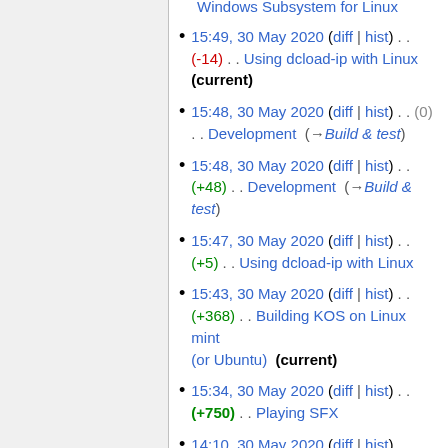15:49, 30 May 2020 (diff | hist) . . (-14) . . Using dcload-ip with Linux (current)
15:48, 30 May 2020 (diff | hist) . . (0) . . Development (→Build & test)
15:48, 30 May 2020 (diff | hist) . . (+48) . . Development (→Build & test)
15:47, 30 May 2020 (diff | hist) . . (+5) . . Using dcload-ip with Linux
15:43, 30 May 2020 (diff | hist) . . (+368) . . Building KOS on Linux mint (or Ubuntu) (current)
15:34, 30 May 2020 (diff | hist) . . (+750) . . Playing SFX
14:10, 30 May 2020 (diff | hist) . . (+12) . . Using dcload-ip with Linux
14:10, 30 May 2020 (diff | hist) . .